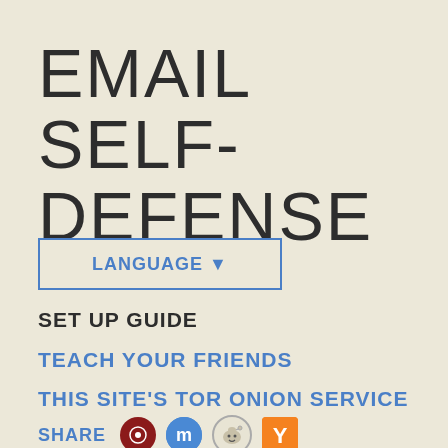EMAIL SELF-DEFENSE
LANGUAGE ▼
SET UP GUIDE
TEACH YOUR FRIENDS
THIS SITE'S TOR ONION SERVICE
SHARE